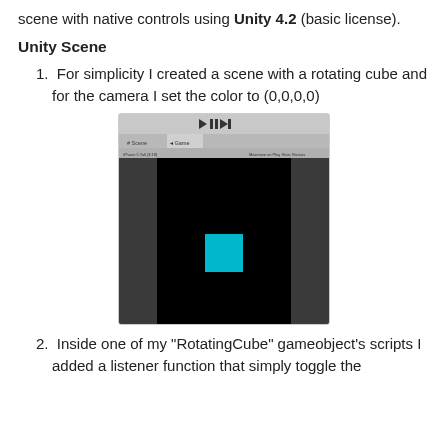scene with native controls using Unity 4.2 (basic license).
Unity Scene
1. For simplicity I created a scene with a rotating cube and for the camera I set the color to (0,0,0,0)
[Figure (screenshot): Unity editor screenshot showing the Game view with a cyan square (rotating cube) visible against a black background, with dark gray side panels. The toolbar at the top shows play/pause/step buttons and Scene/Game tabs.]
2. Inside one of my "RotatingCube" gameobject's scripts I added a listener function that simply toggle the